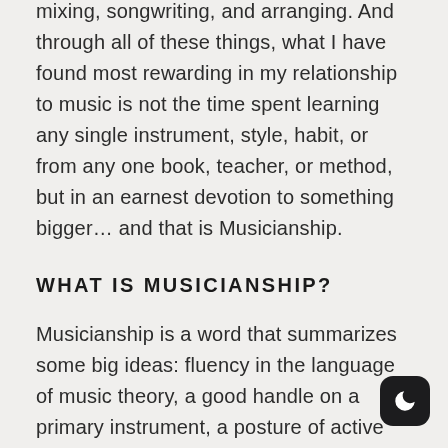mixing, songwriting, and arranging. And through all of these things, what I have found most rewarding in my relationship to music is not the time spent learning any single instrument, style, habit, or from any one book, teacher, or method, but in an earnest devotion to something bigger… and that is Musicianship.
WHAT IS MUSICIANSHIP?
Musicianship is a word that summarizes some big ideas: fluency in the language of music theory, a good handle on a primary instrument, a posture of active engagement with the music around you, but above all, a special level of attention paid to your own musical expression. The result of Musicianship is a quiet confidence, knowing that in any musical situation, you know who you are and you know what